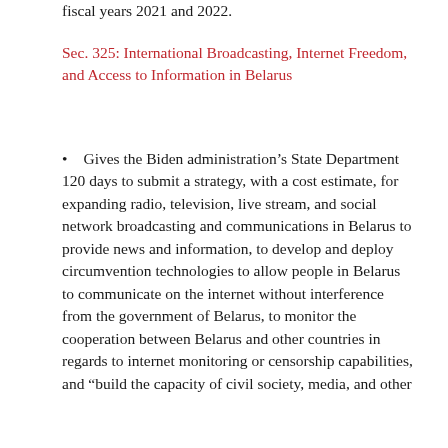fiscal years 2021 and 2022.
Sec. 325: International Broadcasting, Internet Freedom, and Access to Information in Belarus
Gives the Biden administration's State Department 120 days to submit a strategy, with a cost estimate, for expanding radio, television, live stream, and social network broadcasting and communications in Belarus to provide news and information, to develop and deploy circumvention technologies to allow people in Belarus to communicate on the internet without interference from the government of Belarus, to monitor the cooperation between Belarus and other countries in regards to internet monitoring or censorship capabilities, and “build the capacity of civil society, media, and other